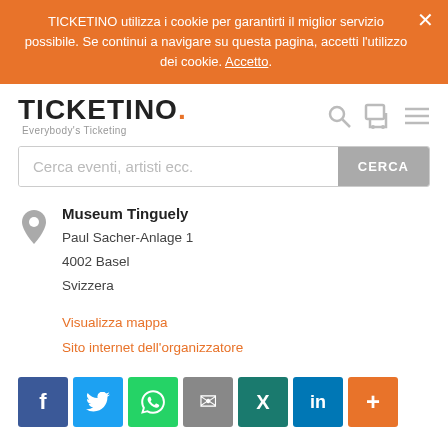TICKETINO utilizza i cookie per garantirti il miglior servizio possibile. Se continui a navigare su questa pagina, accetti l'utilizzo dei cookie. Accetto.
[Figure (logo): TICKETINO. Everybody's Ticketing logo with orange dot]
[Figure (screenshot): Search bar with placeholder 'Cerca eventi, artisti ecc.' and CERCA button]
Museum Tinguely
Paul Sacher-Anlage 1
4002 Basel
Svizzera
Visualizza mappa
Sito internet dell'organizzatore
[Figure (infographic): Social share buttons: Facebook, Twitter, WhatsApp, Email, Xing, LinkedIn, Plus]